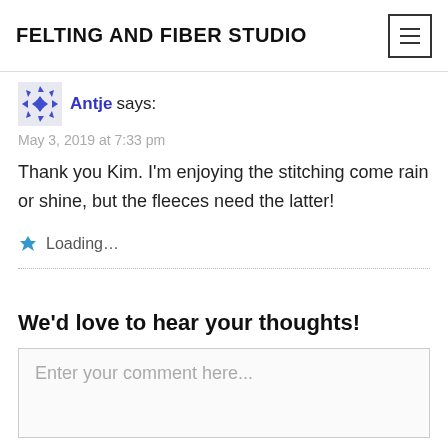FELTING AND FIBER STUDIO
Antje says:
May 3, 2019 at 7:33 pm
Thank you Kim. I'm enjoying the stitching come rain or shine, but the fleeces need the latter!
Loading...
We'd love to hear your thoughts!
Enter your comment here...